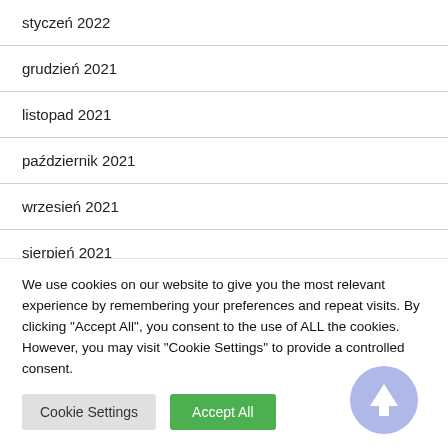styczeń 2022
grudzień 2021
listopad 2021
październik 2021
wrzesień 2021
sierpień 2021
lipiec 2021
We use cookies on our website to give you the most relevant experience by remembering your preferences and repeat visits. By clicking "Accept All", you consent to the use of ALL the cookies. However, you may visit "Cookie Settings" to provide a controlled consent.